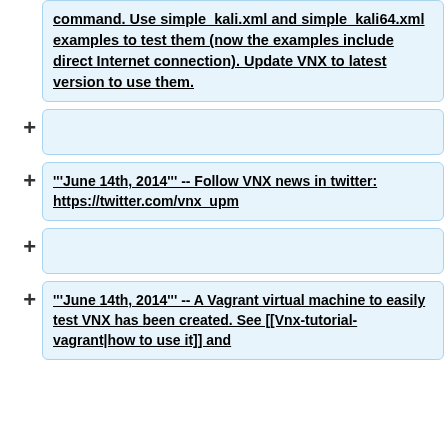command. Use simple_kali.xml and simple_kali64.xml examples to test them (now the examples include direct Internet connection). Update VNX to latest version to use them.
'''June 14th, 2014''' -- Follow VNX news in twitter: https://twitter.com/vnx_upm
'''June 14th, 2014''' -- A Vagrant virtual machine to easily test VNX has been created. See [[Vnx-tutorial-vagrant|how to use it]] and